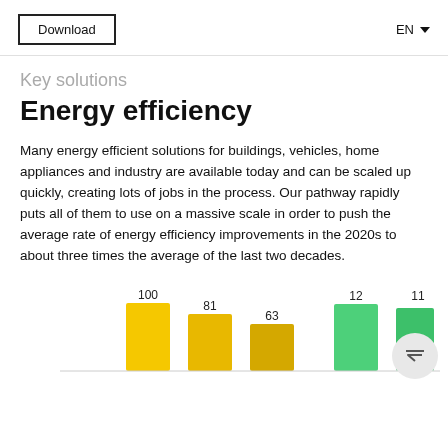Download | EN
Key solutions
Energy efficiency
Many energy efficient solutions for buildings, vehicles, home appliances and industry are available today and can be scaled up quickly, creating lots of jobs in the process. Our pathway rapidly puts all of them to use on a massive scale in order to push the average rate of energy efficiency improvements in the 2020s to about three times the average of the last two decades.
[Figure (bar-chart): Energy efficiency chart]